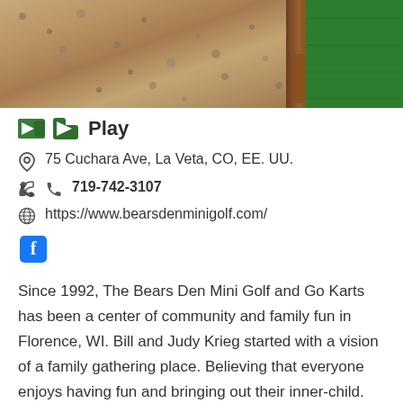[Figure (photo): Close-up photo of mini golf course showing gravel/rock ground cover on left, a wooden border strip in the middle, and green artificial turf on the right.]
Play
75 Cuchara Ave, La Veta, CO, EE. UU.
719-742-3107
https://www.bearsdenminigolf.com/
[Figure (logo): Facebook logo icon (blue square with white letter f)]
Since 1992, The Bears Den Mini Golf and Go Karts has been a center of community and family fun in Florence, WI. Bill and Judy Krieg started with a vision of a family gathering place. Believing that everyone enjoys having fun and bringing out their inner-child. After 28 successful years, Bill and Judy have entrusted us with that dream. Our hope is to expand and grow what they have turned over to us, while providing a variety of entertainment options that honor the past and look